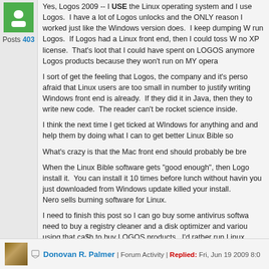[Figure (illustration): Green avatar/profile icon for forum user]
Posts 403
Yes, Logos 2009 -- I USE the Linux operating system and I use Logos. I have a lot of Logos unlocks and the ONLY reason I worked just like the Windows version does. I keep dumping W run Logos. If Logos had a Linux front end, then I could toss W no XP license. That's loot that I could have spent on LOGOS anymore Logos products because they won't run on MY opera
I sort of get the feeling that Logos, the company and it's perso afraid that Linux users are too small in number to justify writing Windows front end is already. If they did it in Java, then they to write new code. The reader can't be rocket science inside.
I think the next time I get ticked at WIndows for anything and and help them by doing what I can to get better Linux Bible so
What's crazy is that the Mac front end should probably be bre
When the Linux Bible software gets "good enough", then Logo install it. You can install it 10 times before lunch without havin you just downloaded from Windows update killed your install. Nero sells burning software for Linux.
I need to finish this post so I can go buy some antivirus softwa need to buy a registry cleaner and a disk optimizer and variou using that ca$h to buy LOGOS products. I'd rather run Linux
And they lived happily ever after. The end.
[Figure (photo): Profile photo of Donovan R. Palmer - person with books in background]
Donovan R. Palmer | Forum Activity | Replied: Fri, Jun 19 2009 8:0